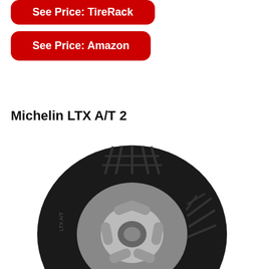[Figure (other): Red button partially visible at top: 'See Price: TireRack']
[Figure (other): Red rounded button with white bold text reading 'See Price: Amazon']
Michelin LTX A/T 2
[Figure (photo): Photo of a Michelin LTX A/T 2 tire with silver alloy wheel, showing tread pattern, partially cropped at bottom]